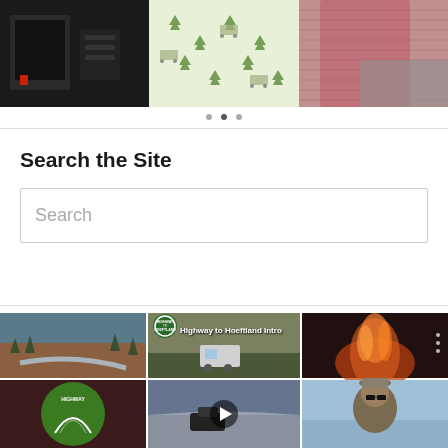[Figure (photo): Three-panel photo collage at top: left panel shows dark/black electronic equipment, center panel shows fabric or wallpaper with camping/RV pattern (green trees and trailers), right panel shows a person wearing a pink/red knitted sweater or blanket]
Search the Site
Search (input placeholder)
[Figure (screenshot): Instagram-style video grid with 6 cells: top-left shows a winter river landscape, top-center shows an RV/trailer in forest with 'Highway to Hoeftland Intro' text overlay and Highway to Hoeftland logo, top-right shows a campfire closeup, bottom-left shows a green Highway to Hoeftland circular logo, bottom-center shows a snowy road scene with a play button overlay, bottom-right shows a man wearing sunglasses and a cap outdoors]